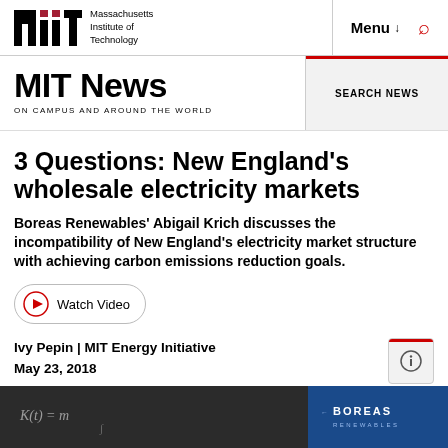Massachusetts Institute of Technology | Menu | Search
MIT News ON CAMPUS AND AROUND THE WORLD
SEARCH NEWS
3 Questions: New England's wholesale electricity markets
Boreas Renewables' Abigail Krich discusses the incompatibility of New England's electricity market structure with achieving carbon emissions reduction goals.
Watch Video
Ivy Pepin | MIT Energy Initiative
May 23, 2018
[Figure (photo): Chalkboard with equations and Boreas Renewables logo on dark background]